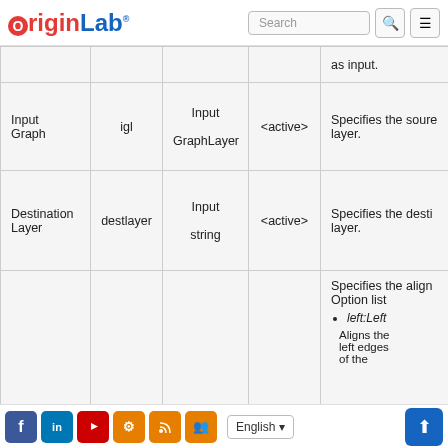OriginLab Search
| GUI Name | Short Name | Type | Default Value | Description |
| --- | --- | --- | --- | --- |
|  |  |  |  | as input. |
| Input Graph | igl | Input
GraphLayer | <active> | Specifies the source layer. |
| Destination Layer | destlayer | Input
string | <active> | Specifies the destination layer. |
|  |  |  |  | Specifies the alignment Option list
• left:Left
Aligns the left edges of the |
Facebook LinkedIn YouTube Settings RSS Group | English | ↑